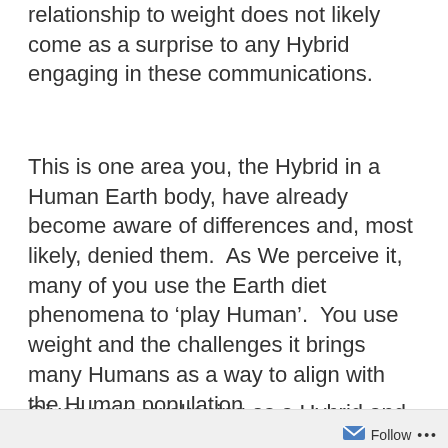relationship to weight does not likely come as a surprise to any Hybrid engaging in these communications.
This is one area you, the Hybrid in a Human Earth body, have already become aware of differences and, most likely, denied them.  As We perceive it, many of you use the Earth diet phenomena to ‘play Human’.  You use weight and the challenges it brings many Humans as a way to align with the Human population.
Given your awakening as a Hybrid and
Follow ...